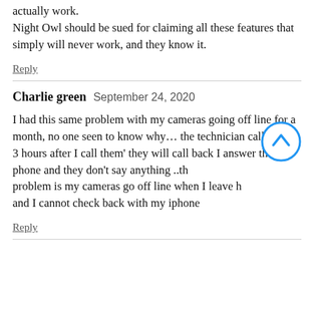actually work.
Night Owl should be sued for claiming all these features that simply will never work, and they know it.
Reply
Charlie green   September 24, 2020
I had this same problem with my cameras going off line for a month, no one seen to know why… the technician call about 3 hours after I call them' they will call back I answer the phone and they don't say anything ..the problem is my cameras go off line when I leave home and I cannot check back with my iphone
Reply